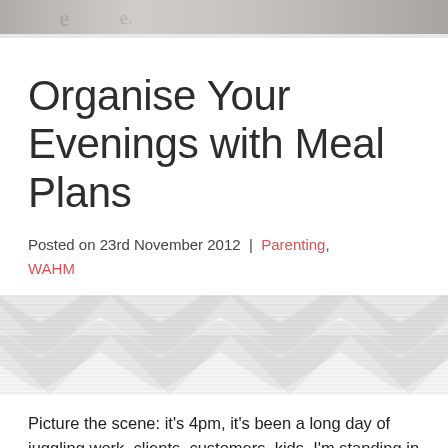[Figure (photo): Partial header image at the top of the page, showing a blurred/cropped photo (appears to be a person or object with handwritten text visible)]
Organise Your Evenings with Meal Plans
Posted on 23rd November 2012  |  Parenting, WAHM
[Figure (illustration): Decorative zigzag/chevron pattern band in light grey, used as a visual divider between the meta section and the article body]
Picture the scene: it's 4pm, it's been a long day of juggling work, clients, customers, kids. I'm standing in front of the cupboards while the sound of hungry